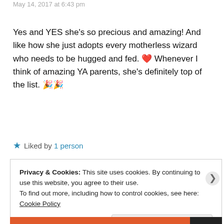May 14, 2017 at 6:43 pm
Yes and YES she's so precious and amazing! And like how she just adopts every motherless wizard who needs to be hugged and fed. ❤ Whenever I think of amazing YA parents, she's definitely top of the list. 🎉🎉
★ Liked by 1 person
Reply
Privacy & Cookies: This site uses cookies. By continuing to use this website, you agree to their use.
To find out more, including how to control cookies, see here: Cookie Policy
Close and accept